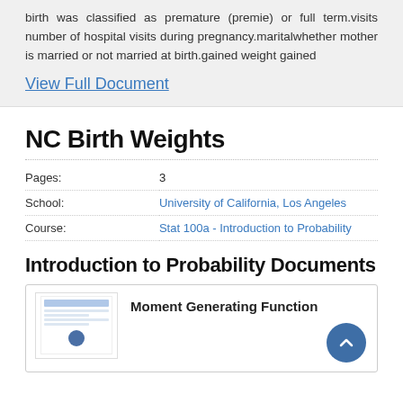birth was classified as premature (premie) or full term.visits number of hospital visits during pregnancy.maritalwhether mother is married or not married at birth.gained weight gained
View Full Document
NC Birth Weights
|  |  |
| --- | --- |
| Pages: | 3 |
| School: | University of California, Los Angeles |
| Course: | Stat 100a - Introduction to Probability |
Introduction to Probability Documents
Moment Generating Function